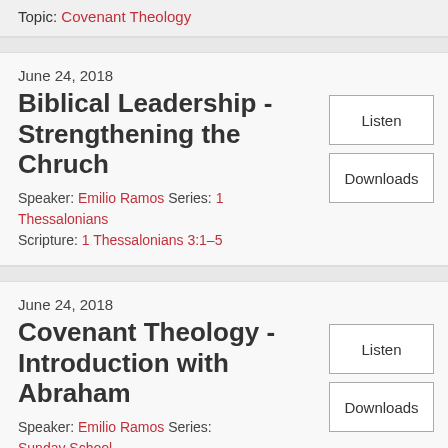Topic: Covenant Theology
June 24, 2018
Biblical Leadership - Strengthening the Chruch
Speaker: Emilio Ramos Series: 1 Thessalonians
Scripture: 1 Thessalonians 3:1–5
June 24, 2018
Covenant Theology - Introduction with Abraham
Speaker: Emilio Ramos Series: Sunday School